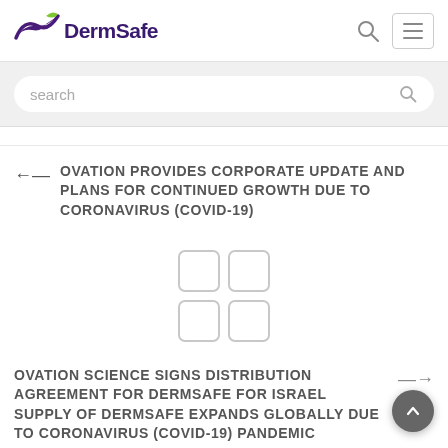[Figure (logo): DermSafe logo with purple bird/wave and green leaf graphic, text 'DermSafe' in dark purple]
[Figure (screenshot): Search icon (magnifying glass) and hamburger menu icon in top right of header]
[Figure (screenshot): Search bar with placeholder text 'search' and magnifying glass icon, on gray background]
OVATION PROVIDES CORPORATE UPDATE AND PLANS FOR CONTINUED GROWTH DUE TO CORONAVIRUS (COVID-19)
[Figure (infographic): Four rounded square grid icon (2x2) in light gray outline]
OVATION SCIENCE SIGNS DISTRIBUTION AGREEMENT FOR DERMSAFE FOR ISRAEL SUPPLY OF DERMSAFE EXPANDS GLOBALLY DUE TO CORONAVIRUS (COVID-19) PANDEMIC